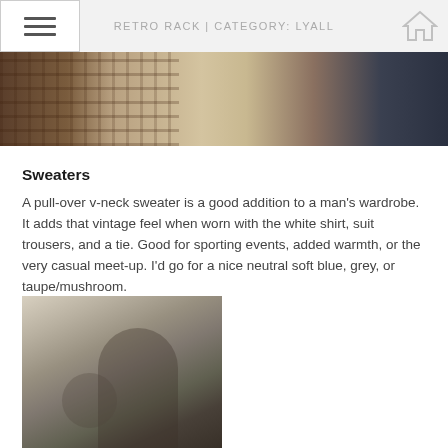RETRO RACK | CATEGORY: LYALL
[Figure (photo): Vintage photograph showing people in period clothing including plaid shirt, linen jacket, and dark suit]
Sweaters
A pull-over v-neck sweater is a good addition to a man's wardrobe. It adds that vintage feel when worn with the white shirt, suit trousers, and a tie. Good for sporting events, added warmth, or the very casual meet-up. I'd go for a nice neutral soft blue, grey, or taupe/mushroom.
[Figure (photo): Vintage black and white photograph showing a woman leaning over looking at something, with a child visible below]